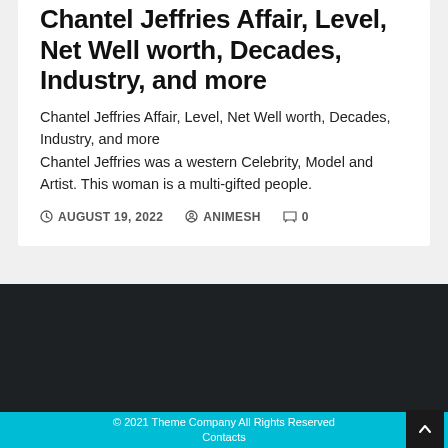Chantel Jeffries Affair, Level, Net Well worth, Decades, Industry, and more
Chantel Jeffries Affair, Level, Net Well worth, Decades, Industry, and more
Chantel Jeffries was a western Celebrity, Model and Artist. This woman is a multi-gifted people.
AUGUST 19, 2022  ANIMESH  0
© 2021 Theme Company All Rights Reserved
Contacts